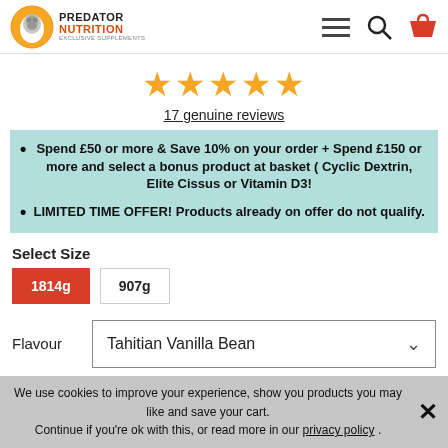Predator Nutrition Exclusive Supplements
[Figure (other): Five orange star rating icons]
17 genuine reviews
Spend £50 or more & Save 10% on your order + Spend £150 or more and select a bonus product at basket ( Cyclic Dextrin, Elite Cissus or Vitamin D3!
LIMITED TIME OFFER! Products already on offer do not qualify.
Select Size
1814g   907g
Flavour   Tahitian Vanilla Bean
We use cookies to improve your experience, show you products you may like and save your cart. Continue if you're ok with this, or read more in our privacy policy .